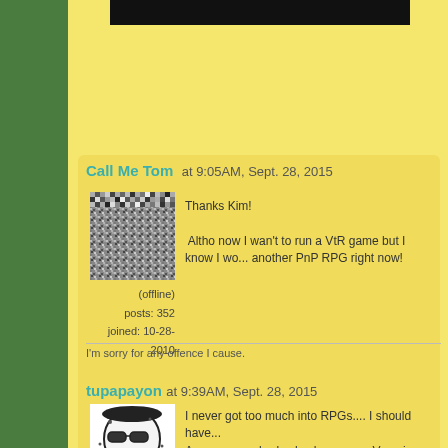[Figure (screenshot): Black banner image at top]
Call Me Tom at 9:05AM, Sept. 28, 2015
[Figure (photo): Avatar image - grainy noise pattern]
(offline)
posts: 352
joined: 10-28-2010
Thanks Kim!

 Altho now I wan't to run a VtR game but I know I wo... another PnP RPG right now!
I'm sorry for any offence I cause.
tupapayon at 9:39AM, Sept. 28, 2015
[Figure (illustration): Avatar - cartoon character with sunglasses]
I never got too much into RPGs.... I should have...
Anyways, anybody else have seen Vampire Cheerle... prefer Eerie Cuties...
I wonder what happened to Drake, The Cool Vampi...